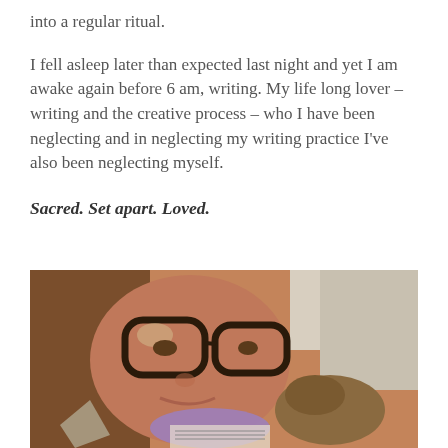into a regular ritual.
I fell asleep later than expected last night and yet I am awake again before 6 am, writing. My life long lover – writing and the creative process – who I have been neglecting and in neglecting my writing practice I've also been neglecting myself.
Sacred. Set apart. Loved.
[Figure (photo): A woman with glasses and long brown and grey hair leaning close to a small animal, possibly a chinchilla or similar pet, with a purple bow visible. Warm indoor lighting.]